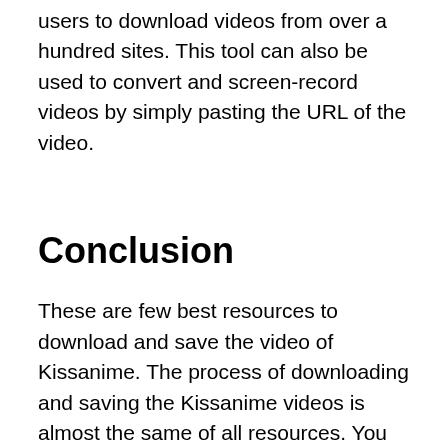users to download videos from over a hundred sites. This tool can also be used to convert and screen-record videos by simply pasting the URL of the video.
Conclusion
These are few best resources to download and save the video of Kissanime. The process of downloading and saving the Kissanime videos is almost the same of all resources. You can select any one which is easy and convenient to use. Enjoy the Kissanime videos with different websites, app, and other resources. Let us know, your take on the KissAnime videos and application. Drop your reviews about the KissAnime in